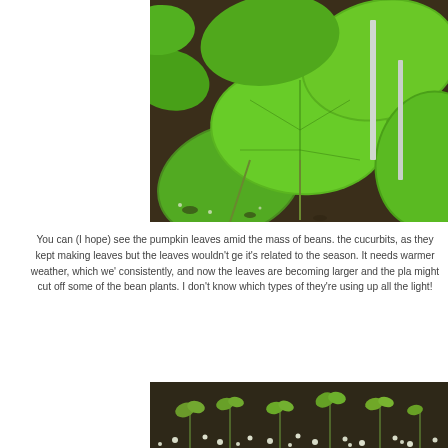[Figure (photo): Close-up photograph of large green pumpkin/cucurbit leaves growing amid bean plants in a garden bed with dark soil and a white stake visible]
You can (I hope) see the pumpkin leaves amid the mass of beans. the cucurbits, as they kept making leaves but the leaves wouldn't ge it's related to the season. It needs warmer weather, which we' consistently, and now the leaves are becoming larger and the pla might cut off some of the bean plants. I don't know which types of they're using up all the light!
[Figure (photo): Photograph of small seedlings growing in dark soil with white perlite or fertilizer granules visible]